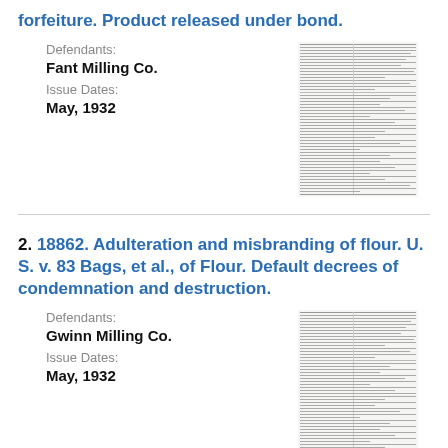forfeiture. Product released under bond.
Defendants: Fant Milling Co.
Issue Dates: May, 1932
[Figure (other): Thumbnail image of a document page with dense text columns]
2. 18862. Adulteration and misbranding of flour. U. S. v. 83 Bags, et al., of Flour. Default decrees of condemnation and destruction.
Defendants: Gwinn Milling Co.
Issue Dates: May, 1932
[Figure (other): Thumbnail image of a document page with dense text columns]